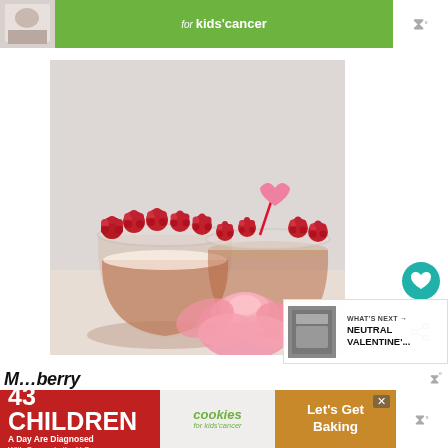[Figure (photo): Top advertisement banner with green background showing 'for kids cancer' text, with small thumbnail on left and logo on right]
[Figure (photo): Two glass cups containing an amber/raspberry-colored iced drink garnished with fresh raspberries on skewers along the rim and a pink heart-shaped candy pick, with pink rose flowers in the foreground, on a white wooden surface]
[Figure (photo): Small thumbnail preview image for What's Next section]
WHAT'S NEXT → NEUTRAL VALENTINE'...
M...berry
[Figure (photo): Bottom advertisement banner: '43 CHILDREN A Day Are Diagnosed With Cancer in the U.S.' with Cookies for Kids Cancer logo and 'Let's Get Baking' on brown background]